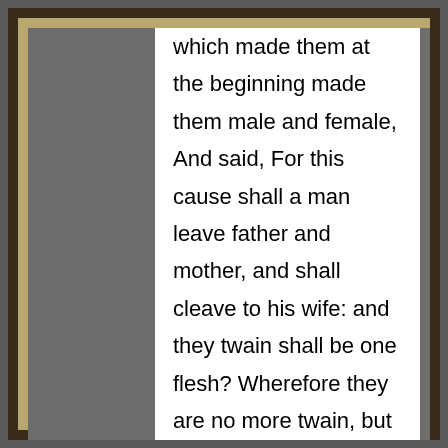which made them at the beginning made them male and female, And said, For this cause shall a man leave father and mother, and shall cleave to his wife: and they twain shall be one flesh? Wherefore they are no more twain, but one flesh. What therefore God hath joined together, let not man put asunder. They say unto him, Why did Moses then command to give a writing of divorcement, and to put her away? He saith unto them, Moses because of